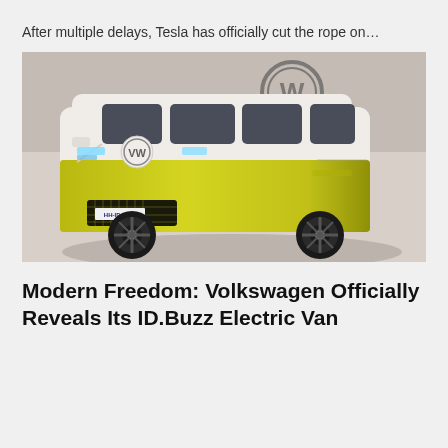After multiple delays, Tesla has officially cut the rope on…
[Figure (photo): Volkswagen ID.Buzz electric van in yellow-green and white two-tone color, photographed in a studio with a VW logo on the wall behind it. The van has LED headlights, large black wheels, and a mesh front grille with a license plate reading HH-ID 906E.]
Modern Freedom: Volkswagen Officially Reveals Its ID.Buzz Electric Van